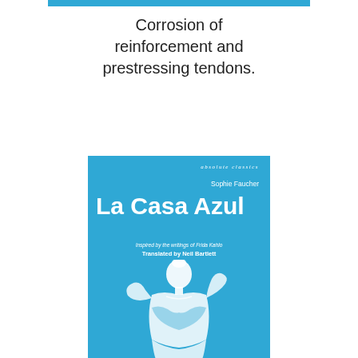[Figure (other): Thin horizontal blue bar across the top of the page]
Corrosion of reinforcement and prestressing tendons.
[Figure (illustration): Book cover for 'La Casa Azul' by Sophie Faucher, published by Absolute Classics. Blue cover with white text and an illustration of a woman in traditional dress. Subtitled 'Inspired by the writings of Frida Kahlo, Translated by Neil Bartlett'.]